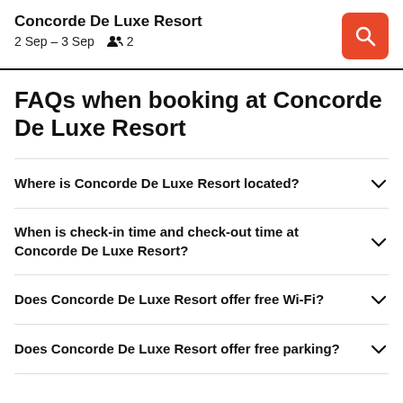Concorde De Luxe Resort
2 Sep – 3 Sep   2
FAQs when booking at Concorde De Luxe Resort
Where is Concorde De Luxe Resort located?
When is check-in time and check-out time at Concorde De Luxe Resort?
Does Concorde De Luxe Resort offer free Wi-Fi?
Does Concorde De Luxe Resort offer free parking?